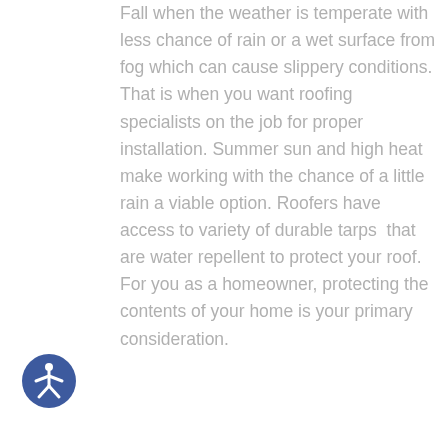Fall when the weather is temperate with less chance of rain or a wet surface from fog which can cause slippery conditions. That is when you want roofing specialists on the job for proper installation. Summer sun and high heat make working with the chance of a little rain a viable option. Roofers have access to variety of durable tarps  that are water repellent to protect your roof. For you as a homeowner, protecting the contents of your home is your primary consideration.
[Figure (illustration): Circular accessibility icon with blue background showing a person with arms and legs outstretched (universal accessibility symbol) in white]